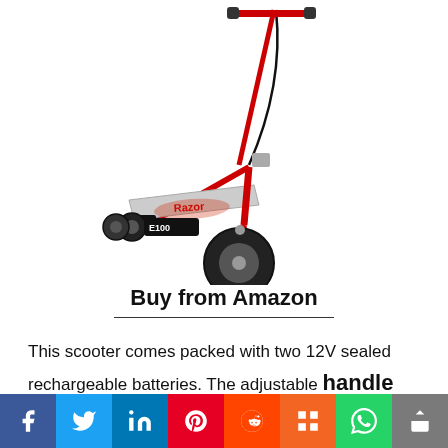[Figure (photo): Red Razor E100 electric scooter with black handlebar, wide deck, and large front wheel]
Buy from Amazon
This scooter comes packed with two 12V sealed rechargeable batteries. The adjustable handle bar is equipped with a hand operated front brake and a
[Figure (infographic): Social media sharing bar with icons for Facebook, Twitter, LinkedIn, Pinterest, Reddit, Mix, WhatsApp, and Share]